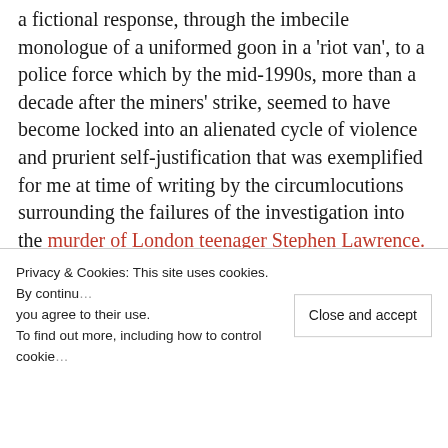a fictional response, through the imbecile monologue of a uniformed goon in a 'riot van', to a police force which by the mid-1990s, more than a decade after the miners' strike, seemed to have become locked into an alienated cycle of violence and prurient self-justification that was exemplified for me at time of writing by the circumlocutions surrounding the failures of the investigation into the murder of London teenager Stephen Lawrence.
CHARLIEUNCLENORFOLKTANGO is long out of print, following the closure of the recording...
Privacy & Cookies: This site uses cookies. By continuing to use this website, you agree to their use. To find out more, including how to control cookies, see here: Close and accept